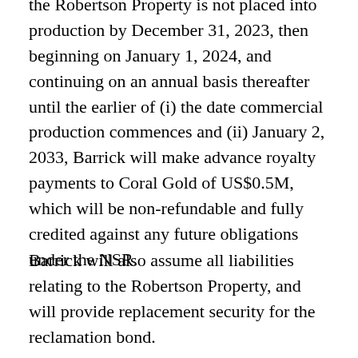the Robertson Property is not placed into production by December 31, 2023, then beginning on January 1, 2024, and continuing on an annual basis thereafter until the earlier of (i) the date commercial production commences and (ii) January 2, 2033, Barrick will make advance royalty payments to Coral Gold of US$0.5M, which will be non-refundable and fully credited against any future obligations under the NSR.
Barrick will also assume all liabilities relating to the Robertson Property, and will provide replacement security for the reclamation bond.